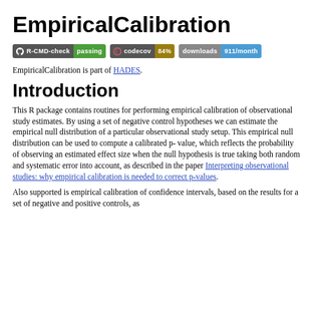EmpiricalCalibration
[Figure (other): Three status badges: R-CMD-check passing (green), codecov 84% (gold), downloads 911/month (blue)]
EmpiricalCalibration is part of HADES.
Introduction
This R package contains routines for performing empirical calibration of observational study estimates. By using a set of negative control hypotheses we can estimate the empirical null distribution of a particular observational study setup. This empirical null distribution can be used to compute a calibrated p-value, which reflects the probability of observing an estimated effect size when the null hypothesis is true taking both random and systematic error into account, as described in the paper Interpreting observational studies: why empirical calibration is needed to correct p-values.
Also supported is empirical calibration of confidence intervals, based on the results for a set of negative and positive controls, as